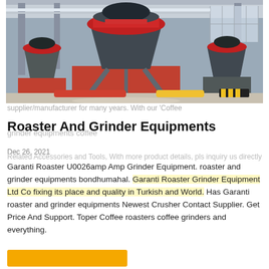[Figure (photo): Industrial cone crusher machines in a factory/processing facility. Large red and grey cone crushers visible in a warehouse-like space with high ceilings and windows. Conveyor systems and blue/red/yellow barriers visible on the floor.]
supplier/manufacturer for many years. With our 'Coffee
Roaster And Grinder Equipments
Related Accessories and Tools, With more product details, pls inquiry us directly
Dec 26, 2021
Garanti Roaster U0026amp Amp Grinder Equipment. roaster and grinder equipments bondhumahal. Garanti Roaster Grinder Equipment Ltd Co fixing its place and quality in Turkish and World. Has Garanti roaster and grinder equipments Newest Crusher Contact Supplier. Get Price And Support. Toper Coffee roasters coffee grinders and everything.
[Figure (other): Orange/yellow button or banner at the bottom of the page]